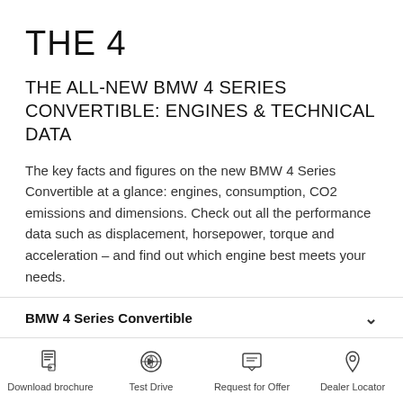THE 4
THE ALL-NEW BMW 4 SERIES CONVERTIBLE: ENGINES & TECHNICAL DATA
The key facts and figures on the new BMW 4 Series Convertible at a glance: engines, consumption, CO2 emissions and dimensions. Check out all the performance data such as displacement, horsepower, torque and acceleration – and find out which engine best meets your needs.
BMW 4 Series Convertible
Download brochure  Test Drive  Request for Offer  Dealer Locator